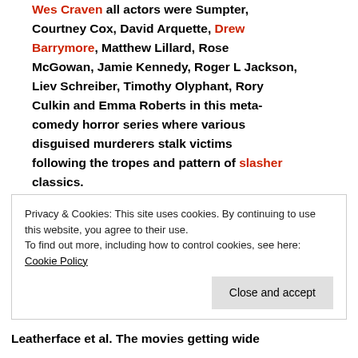Wes Craven, all actors were Sumpter, Courtney Cox, David Arquette, Drew Barrymore, Matthew Lillard, Rose McGowan, Jamie Kennedy, Roger L Jackson, Liev Schreiber, Timothy Olyphant, Rory Culkin and Emma Roberts in this meta-comedy horror series where various disguised murderers stalk victims following the tropes and pattern of slasher classics.
Privacy & Cookies: This site uses cookies. By continuing to use this website, you agree to their use. To find out more, including how to control cookies, see here: Cookie Policy
Leatherface et al. The movies getting wide